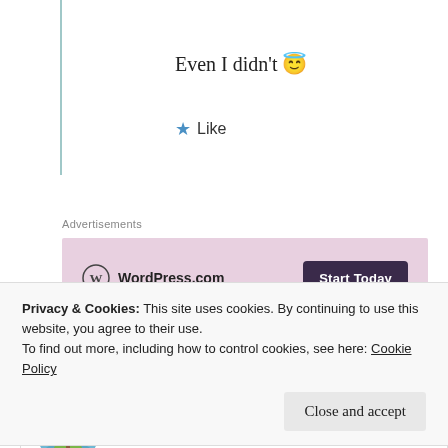Even I didn't 😇
★ Like
Advertisements
[Figure (other): WordPress.com advertisement banner with logo and 'Start Today' button on pink/mauve background]
REPORT THIS AD
Yernasia Quorelios
18th Jun 2021 at 10:14 am
Privacy & Cookies: This site uses cookies. By continuing to use this website, you agree to their use.
To find out more, including how to control cookies, see here: Cookie Policy
Close and accept